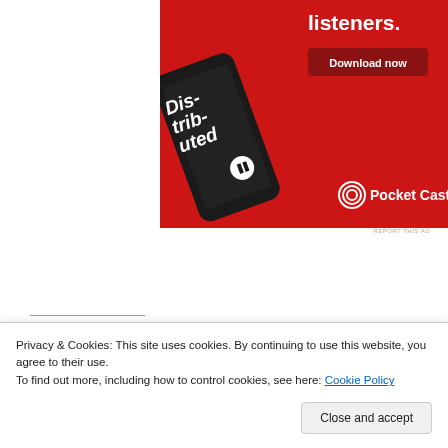[Figure (infographic): Pocket Casts advertisement on a red background showing a smartphone with the app open, text 'Dis-trib-uted' in white, 'listeners.' and 'Download now' button, Pocket Casts logo at the bottom right.]
REPORT THIS AD
Share this:
Twitter
Facebook
Privacy & Cookies: This site uses cookies. By continuing to use this website, you agree to their use.
To find out more, including how to control cookies, see here: Cookie Policy
Close and accept
GAZA
ISRAEL
PALESTINE